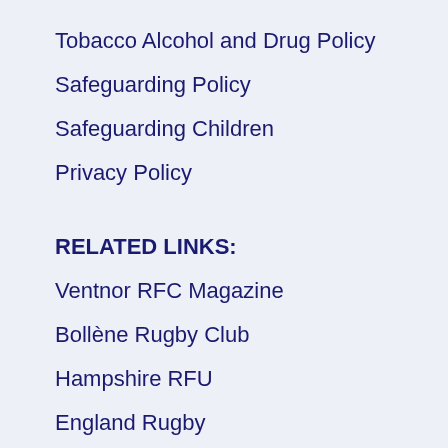Tobacco Alcohol and Drug Policy
Safeguarding Policy
Safeguarding Children
Privacy Policy
RELATED LINKS:
Ventnor RFC Magazine
Bollène Rugby Club
Hampshire RFU
England Rugby
ISLE OF WIGHT RUGBY: